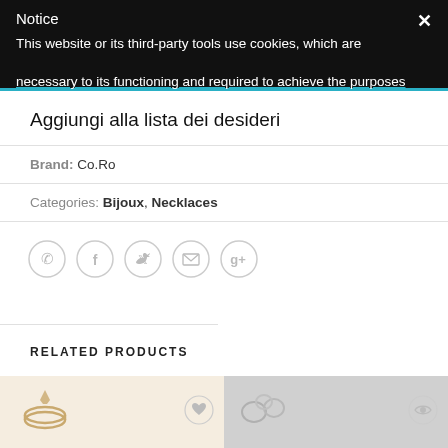Notice
This website or its third-party tools use cookies, which are necessary to its functioning and required to achieve the purposes
Aggiungi alla lista dei desideri
Brand: Co.Ro
Categories: Bijoux, Necklaces
[Figure (infographic): Row of five circular social/contact icon buttons: phone, Facebook, Twitter, email, Google+]
RELATED PRODUCTS
[Figure (photo): Two product thumbnail images side by side at the bottom: left shows gold jewelry on light background with a heart wishlist icon, right shows jewelry on grey background with an eye icon]